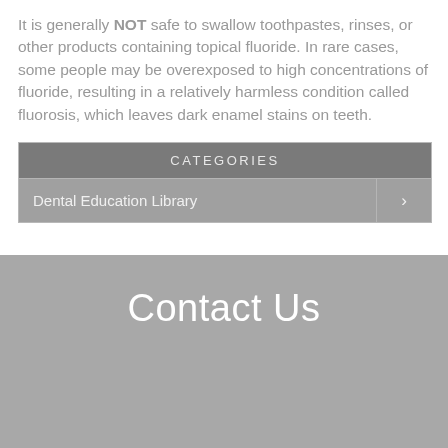It is generally NOT safe to swallow toothpastes, rinses, or other products containing topical fluoride. In rare cases, some people may be overexposed to high concentrations of fluoride, resulting in a relatively harmless condition called fluorosis, which leaves dark enamel stains on teeth.
| CATEGORIES |  |
| --- | --- |
| Dental Education Library | > |
Contact Us